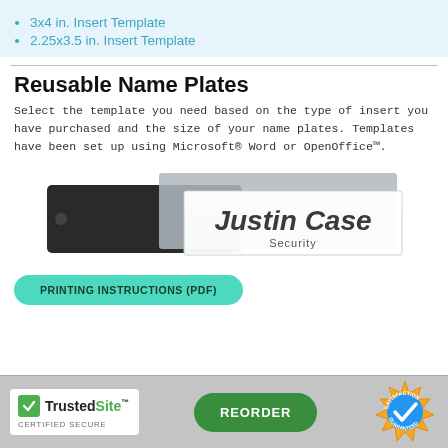3x4 in. Insert Template
2.25x3.5 in. Insert Template
Reusable Name Plates
Select the template you need based on the type of insert you have purchased and the size of your name plates. Templates have been set up using Microsoft® Word or OpenOffice™.
[Figure (photo): Photo of a reusable name plate holder showing 'Justin Case / Security' printed on a metallic insert inside a black holder.]
PRINTING INSTRUCTIONS (PDF)
[Figure (logo): TrustedSite Certified Secure badge with green checkmark]
REORDER
[Figure (logo): Satisfaction Guaranteed gold badge with blue checkmark]